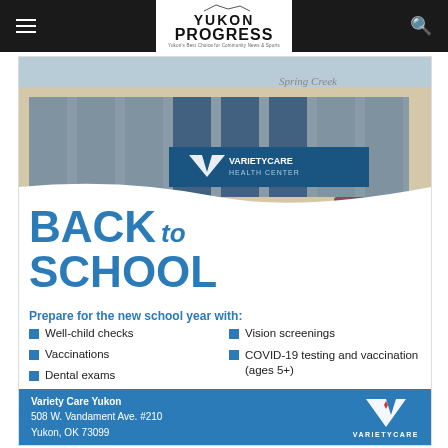Yukon Progress
[Figure (photo): Exterior photo of the Spring Creek building housing VarietyCare Health Center, a modern glass-facade office building with a dark blue VarietyCare sign, a car parked in front.]
BACK to SCHOOL
Prepare for the new school year with:
Well-child checks
Vision screenings
Vaccinations
COVID-19 testing and vaccination (ages 5+)
Dental exams
Variety Care Yukon
508 W. Vandament Ave. #210
Yukon, OK 73099